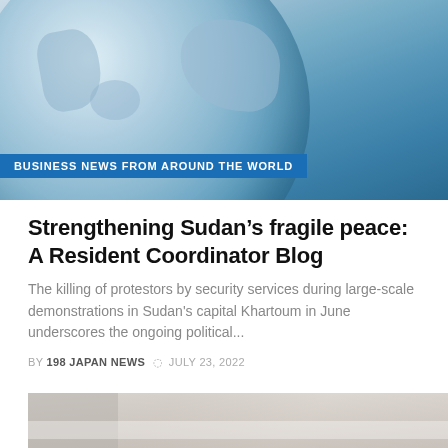[Figure (photo): Blue globe illustration with continents visible, showing a world map sphere on a light blue background. A blue banner at the bottom reads 'BUSINESS NEWS FROM AROUND THE WORLD'.]
Strengthening Sudan’s fragile peace: A Resident Coordinator Blog
The killing of protestors by security services during large-scale demonstrations in Sudan’s capital Khartoum in June underscores the ongoing political…
BY 198 JAPAN NEWS © JULY 23, 2022
[Figure (photo): Partial view of a building or structure with horizontal lines/stripes, in muted gray and beige tones, cropped at the bottom of the page.]